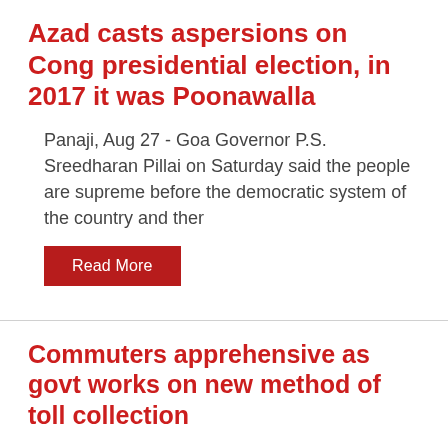Azad casts aspersions on Cong presidential election, in 2017 it was Poonawalla
Panaji, Aug 27 - Goa Governor P.S. Sreedharan Pillai on Saturday said the people are supreme before the democratic system of the country and ther
Read More
Commuters apprehensive as govt works on new method of toll collection
Panaji, Aug 27 - Goa Governor P.S. Sreedharan Pillai on Saturday said the people are supreme before the democratic system of the country and ther